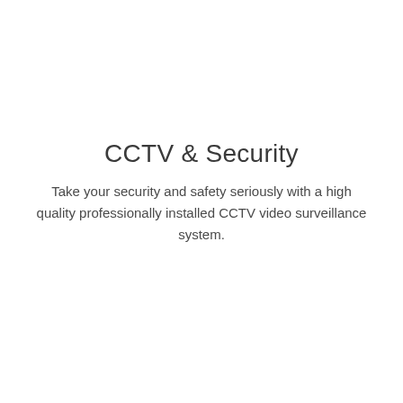CCTV & Security
Take your security and safety seriously with a high quality professionally installed CCTV video surveillance system.